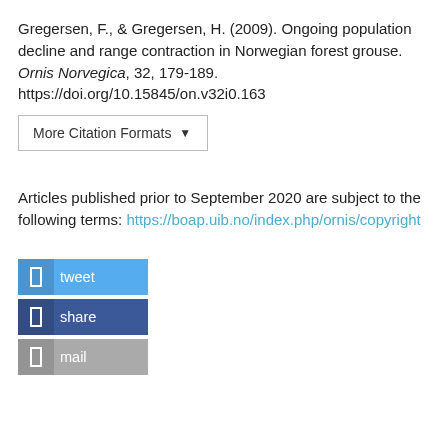Gregersen, F., & Gregersen, H. (2009). Ongoing population decline and range contraction in Norwegian forest grouse. Ornis Norvegica, 32, 179-189. https://doi.org/10.15845/on.v32i0.163
More Citation Formats ▾
Articles published prior to September 2020 are subject to the following terms: https://boap.uib.no/index.php/ornis/copyright
tweet
share
mail